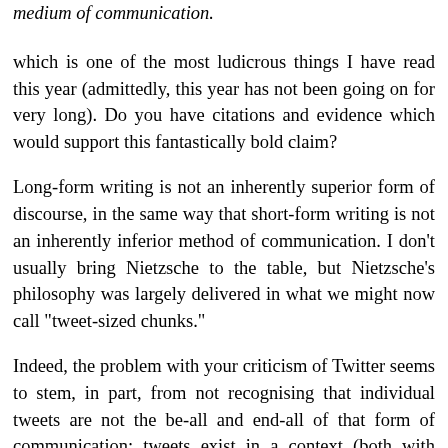medium of communication.
which is one of the most ludicrous things I have read this year (admittedly, this year has not been going on for very long). Do you have citations and evidence which would support this fantastically bold claim?
Long-form writing is not an inherently superior form of discourse, in the same way that short-form writing is not an inherently inferior method of communication. I don't usually bring Nietzsche to the table, but Nietzsche's philosophy was largely delivered in what we might now call "tweet-sized chunks."
Indeed, the problem with your criticism of Twitter seems to stem, in part, from not recognising that individual tweets are not the be-all and end-all of that form of communication: tweets exist in a context (both with respect to the individual author and with respect to the community in which the author participates) and people can use Twitter to put forward sophisticated arguments (see, for example, #twecon, my attempt to run Twitter-based conferences). Like a lot of blogs (perhaps the majority),